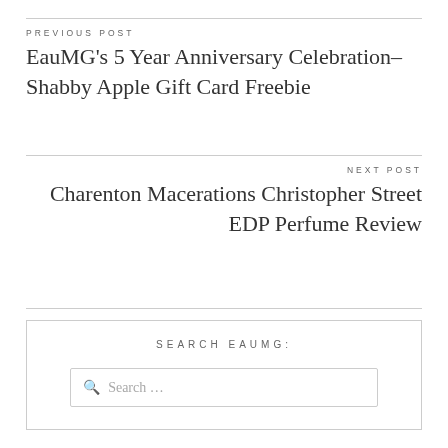PREVIOUS POST
EauMG’s 5 Year Anniversary Celebration– Shabby Apple Gift Card Freebie
NEXT POST
Charenton Macerations Christopher Street EDP Perfume Review
SEARCH EAUMG:
Search …